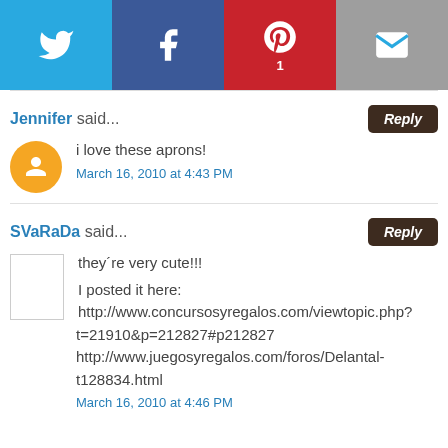[Figure (infographic): Social sharing bar with Twitter (blue), Facebook (dark blue), Pinterest (red, count=1), and Email (gray) buttons]
Jennifer said...
i love these aprons!
March 16, 2010 at 4:43 PM
SVaRaDa said...
they´re very cute!!!

I posted it here:
http://www.concursosyregalos.com/viewtopic.php?t=21910&p=212827#p212827
http://www.juegosyregalos.com/foros/Delantal-t128834.html
March 16, 2010 at 4:46 PM